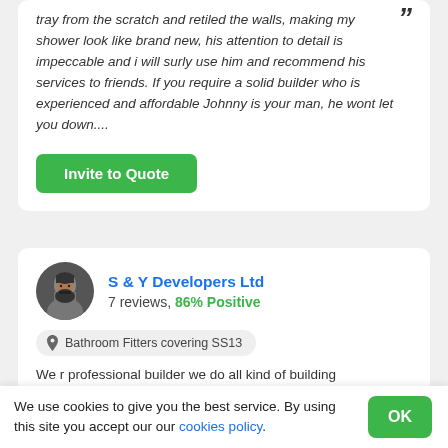tray from the scratch and retiled the walls, making my shower look like brand new, his attention to detail is impeccable and i will surly use him and recommend his services to friends. If you require a solid builder who is experienced and affordable Johnny is your man, he wont let you down....
Invite to Quote
S & Y Developers Ltd
7 reviews, 86% Positive
Bathroom Fitters covering SS13
We r professional builder we do all kind of building
We use cookies to give you the best service. By using this site you accept our our cookies policy.